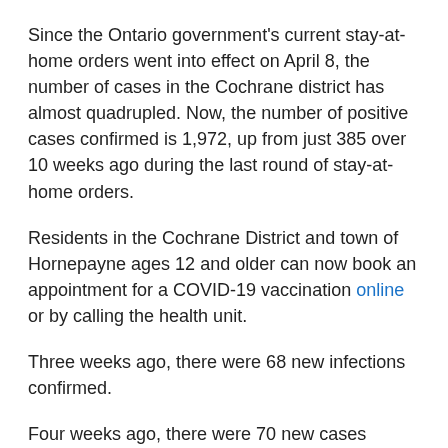Since the Ontario government's current stay-at-home orders went into effect on April 8, the number of cases in the Cochrane district has almost quadrupled. Now, the number of positive cases confirmed is 1,972, up from just 385 over 10 weeks ago during the last round of stay-at-home orders.
Residents in the Cochrane District and town of Hornepayne ages 12 and older can now book an appointment for a COVID-19 vaccination online or by calling the health unit.
Three weeks ago, there were 68 new infections confirmed.
Four weeks ago, there were 70 new cases confirmed and 71 resolved, including one COVID-related fatality.
Five weeks ago, there were 83 new infections confirmed